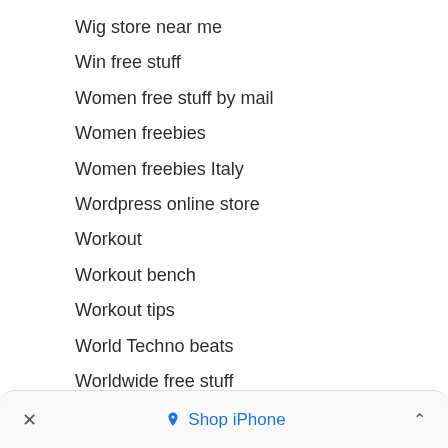Wig store near me
Win free stuff
Women free stuff by mail
Women freebies
Women freebies Italy
Wordpress online store
Workout
Workout bench
Workout tips
World Techno beats
Worldwide free stuff
Worldwide Freebies
× Shop iPhone ^